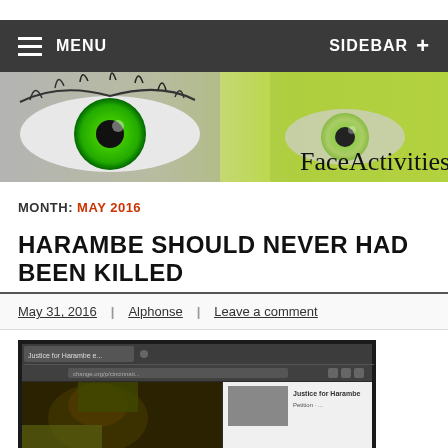MENU | SIDEBAR +
[Figure (illustration): Website banner with two close-up eyes with green irises on a black-and-white and green gradient background, with 'FaceActivities' text on the right]
MONTH: MAY 2016
HARAMBE SHOULD NEVER HAD BEEN KILLED
May 31, 2016 | Alphonse | Leave a comment
[Figure (screenshot): Screenshot of a computer screen showing a browser with a 'Justice for Harambe' Facebook page and an image of Harambe the gorilla]